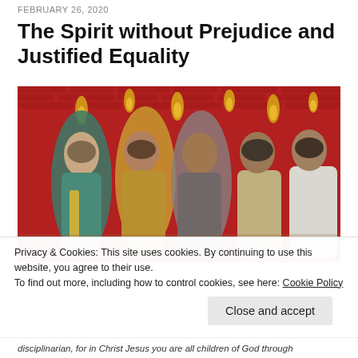FEBRUARY 26, 2020
The Spirit without Prejudice and Justified Equality
[Figure (photo): A mosaic artwork depicting several robed figures with golden flame-like tongues of fire descending upon them against a red brick background — a Pentecost scene rendered in colorful mosaic tiles.]
Privacy & Cookies: This site uses cookies. By continuing to use this website, you agree to their use.
To find out more, including how to control cookies, see here: Cookie Policy
[Close and accept button]
disciplinarian, for in Christ Jesus you are all children of God through